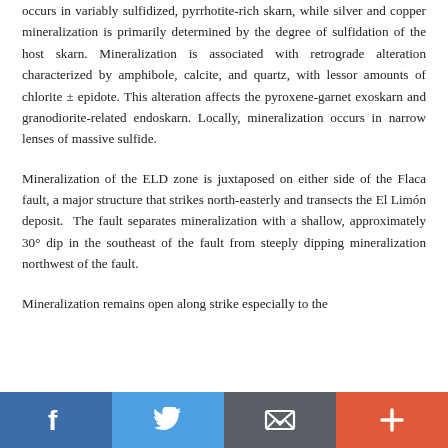occurs in variably sulfidized, pyrrhotite-rich skarn, while silver and copper mineralization is primarily determined by the degree of sulfidation of the host skarn. Mineralization is associated with retrograde alteration characterized by amphibole, calcite, and quartz, with lessor amounts of chlorite ± epidote. This alteration affects the pyroxene-garnet exoskarn and granodiorite-related endoskarn. Locally, mineralization occurs in narrow lenses of massive sulfide.
Mineralization of the ELD zone is juxtaposed on either side of the Flaca fault, a major structure that strikes north-easterly and transects the El Limón deposit.  The fault separates mineralization with a shallow, approximately 30° dip in the southeast of the fault from steeply dipping mineralization northwest of the fault.
Mineralization remains open along strike especially to the
f  [twitter]  [email]  +